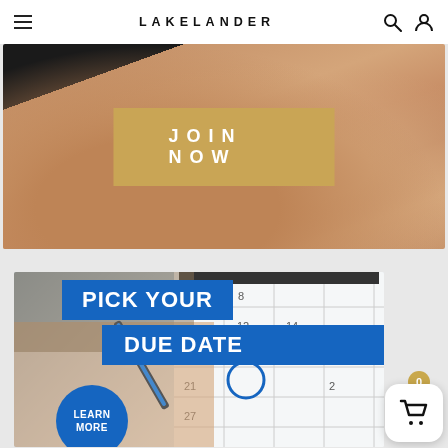LAKELANDER
[Figure (photo): Hand holding something with a gold/tan rectangular button overlay reading JOIN NOW in white spaced letters]
[Figure (photo): Calendar with a pen/marker circling a date, with blue banner overlays reading PICK YOUR DUE DATE and a blue circle button reading LEARN MORE]
[Figure (other): Shopping cart icon with badge showing 0, white rounded square button]